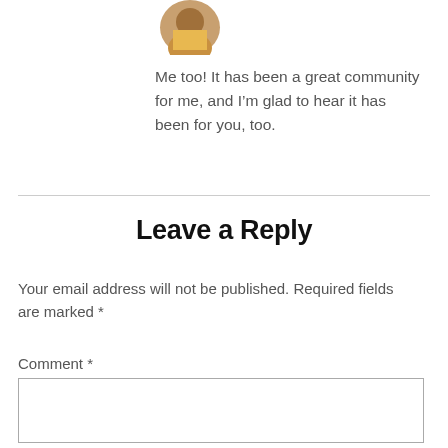[Figure (photo): Circular avatar/profile photo of a person wearing a yellow shirt, cropped at top of page]
Me too! It has been a great community for me, and I’m glad to hear it has been for you, too.
Leave a Reply
Your email address will not be published. Required fields are marked *
Comment *